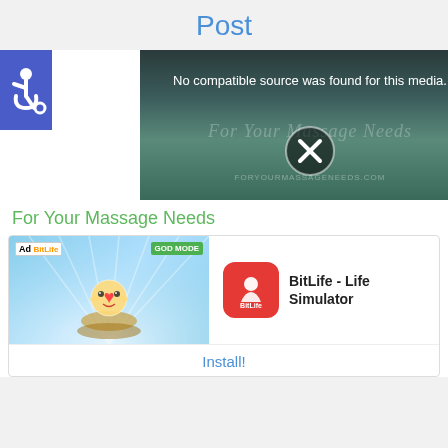Post
[Figure (illustration): Accessibility wheelchair icon in blue square]
[Figure (screenshot): Video player showing error: No compatible source was found for this media. Background shows ocean/sunset scene with watermark text 'For Your Massage Needs' and X circle icon. URL FORYOURMASSAGENEEDS.COM shown.]
For Your Massage Needs
[Figure (screenshot): Ad unit for BitLife - Life Simulator app. Shows Ad label, GOD MODE badge, cartoon character on blue background, BitLife red icon, and Install! button.]